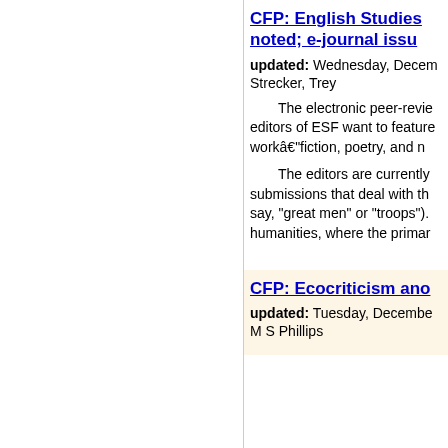CFP: English Studies noted; e-journal issue
updated: Wednesday, Decem
Strecker, Trey
The electronic peer-revie editors of ESF want to feature workâ€"fiction, poetry, and n
The editors are currently submissions that deal with th say, "great men" or "troops"). humanities, where the primar
CFP: Ecocriticism ano
updated: Tuesday, Decembe
M S Phillips